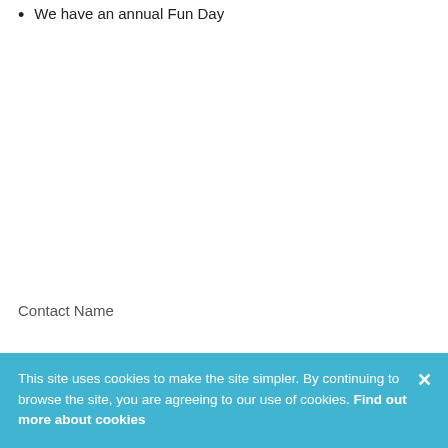We have an annual Fun Day
Contact Name
This site uses cookies to make the site simpler. By continuing to browse the site, you are agreeing to our use of cookies. Find out more about cookies